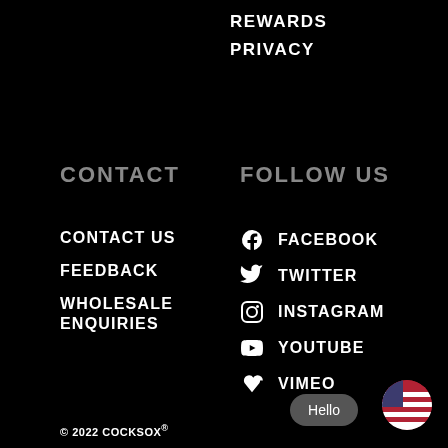REWARDS
PRIVACY
CONTACT
FOLLOW US
CONTACT US
FEEDBACK
WHOLESALE ENQUIRIES
FACEBOOK
TWITTER
INSTAGRAM
YOUTUBE
VIMEO
© 2022 COCKSOX®